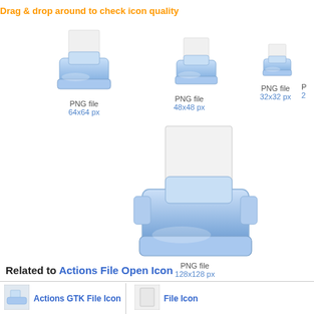Drag & drop around to check icon quality
[Figure (illustration): Printer icon 64x64 px PNG file]
PNG file
64x64 px
[Figure (illustration): Printer icon 48x48 px PNG file]
PNG file
48x48 px
[Figure (illustration): Printer icon 32x32 px PNG file]
PNG file
32x32 px
P...
2...
[Figure (illustration): Printer icon 128x128 px PNG file]
PNG file
128x128 px
Related to Actions File Open Icon
Actions GTK File Icon
File Icon